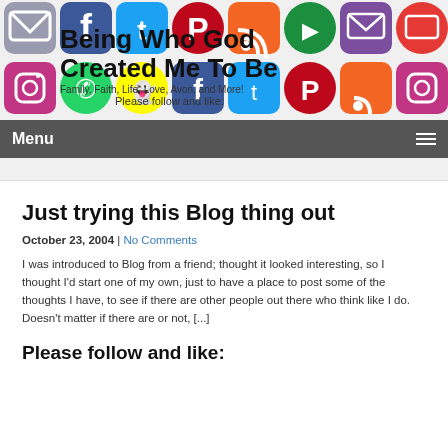Being Who God Created Me To Be | Family, Faith, Life, Love, Avon, and More!
Please follow and like:
Menu
Just trying this Blog thing out
October 23, 2004 | No Comments
I was introduced to Blog from a friend; thought it looked interesting, so I thought I'd start one of my own, just to have a place to post some of the thoughts I have, to see if there are other people out there who think like I do. Doesn't matter if there are or not, [...]
Please follow and like: